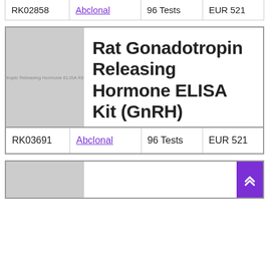| Catalog | Brand | Size | Price |
| --- | --- | --- | --- |
| RK02858 | Abclonal | 96 Tests | EUR 521 |
[Figure (photo): Product image placeholder for Rat Gonadotropin Releasing Hormone ELISA Kit]
Rat Gonadotropin Releasing Hormone ELISA Kit (GnRH)
| Catalog | Brand | Size | Price |
| --- | --- | --- | --- |
| RK03691 | Abclonal | 96 Tests | EUR 521 |
[Figure (photo): Partial product image placeholder for next product card]